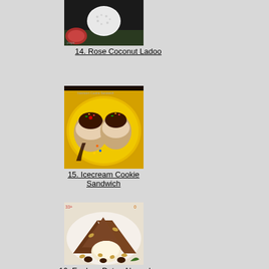[Figure (photo): Photo of Rose Coconut Ladoo - a white coconut-coated round sweet]
14. Rose Coconut Ladoo
[Figure (photo): Photo of Icecream Cookie Sandwich - cookies with chocolate sauce on yellow plate]
15. Icecream Cookie Sandwich
[Figure (photo): Photo of a brownie/cake slices with ice cream, almonds and raisins on white plate]
16. Eggless Dates Almond...